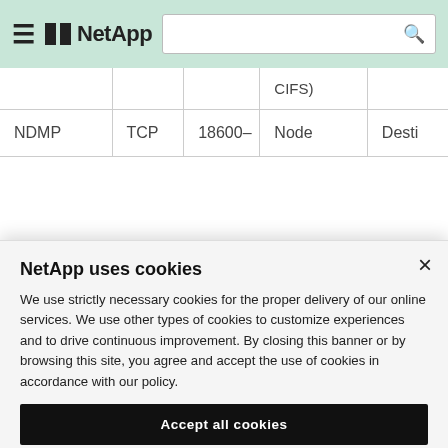NetApp
|  |  |  | CIFS) |  |
| --- | --- | --- | --- | --- |
| NDMP | TCP | 18600– | Node | Desti |
NetApp uses cookies
We use strictly necessary cookies for the proper delivery of our online services. We use other types of cookies to customize experiences and to drive continuous improvement. By closing this banner or by browsing this site, you agree and accept the use of cookies in accordance with our policy.
Accept all cookies
Cookie settings